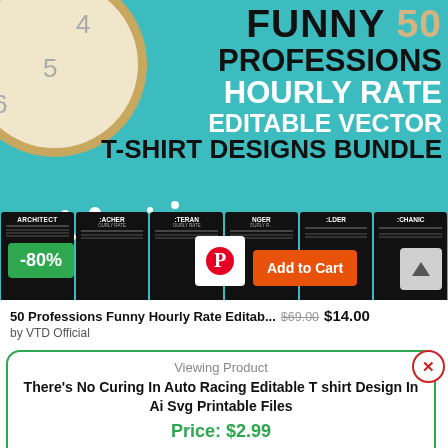[Figure (screenshot): Product listing image for 50 Professions Funny Hourly Rate Editable Vector T-Shirt Designs Bundle, teal background with clock, large text, and black t-shirts row with profession labels, discount badge -80%, Add to Cart button]
50 Professions Funny Hourly Rate Editab... $69.00 $14.00
by VTD Official
Viewing Product
There's No Curing In Auto Racing Editable T shirt Design In Ai Svg Printable Files
Price: $2.99
Add to cart